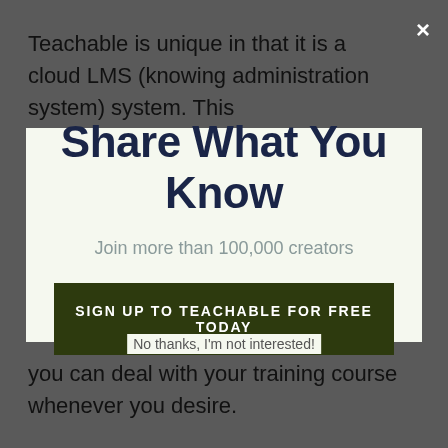Teachable is unique in that it is a cloud LMS (knowing administration system) system. This
×
Share What You Know
Join more than 100,000 creators
SIGN UP TO TEACHABLE FOR FREE TODAY
you can deal with your training course whenever you desire.
No thanks, I'm not interested!